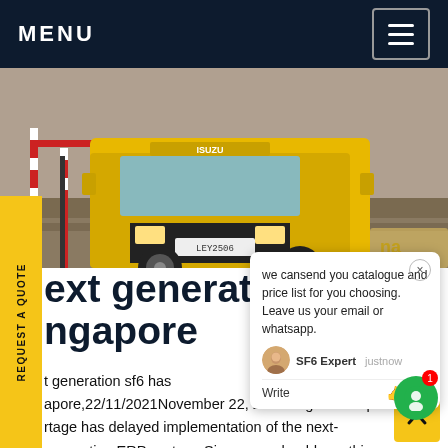MENU
[Figure (photo): Yellow truck at a road barrier/gate at a construction or industrial site]
REQUEST A QUOTE
we cansend you catalogue and price list for you choosing. Leave us your email or whatsapp.
SF6 Expert  justnow
Write
next generation sf6 singapore
next generation sf6 has singapore,22/11/2021November 22, 2021. A global chip shortage has delayed implementation of the next-generation ERP system. Singapore should use this time to rethink how to do things in a greener way. Data security and controls have been cited as reasons why a separate on-board unit must be